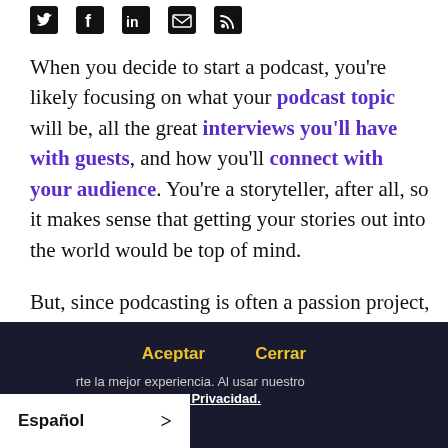[Figure (other): Row of social media / share icons (Twitter bird, Facebook f, LinkedIn in, email envelope, RSS feed) rendered as dark squares/shapes]
When you decide to start a podcast, you're likely focusing on what your podcast topic will be, all the great interviews you'll have with guests, and how you'll connect with your audience. You're a storyteller, after all, so it makes sense that getting your stories out into the world would be top of mind.
But, since podcasting is often a passion project, entrepreneurial in nature, or a DIY endeavor, there are a lot of other details a solo
Aceptar   Cerrar
Usamos cookies para darte la mejor experiencia. Al usar nuestro sitio aceptas nuestra Política de Privacidad.
Español >